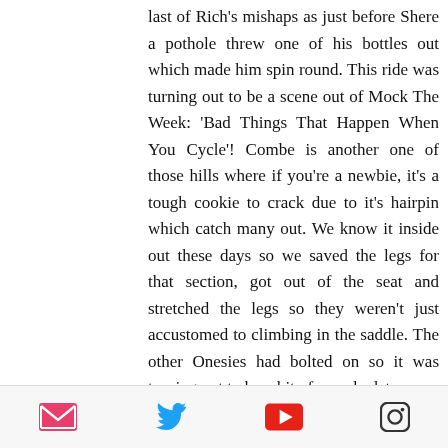last of Rich's mishaps as just before Shere a pothole threw one of his bottles out which made him spin round. This ride was turning out to be a scene out of Mock The Week: 'Bad Things That Happen When You Cycle'! Combe is another one of those hills where if you're a newbie, it's a tough cookie to crack due to it's hairpin which catch many out. We know it inside out these days so we saved the legs for that section, got out of the seat and stretched the legs so they weren't just accustomed to climbing in the saddle. The other Onesies had bolted on so it was turning out to be a bit of a cycle date
[email icon] [twitter icon] [youtube icon] [instagram icon]